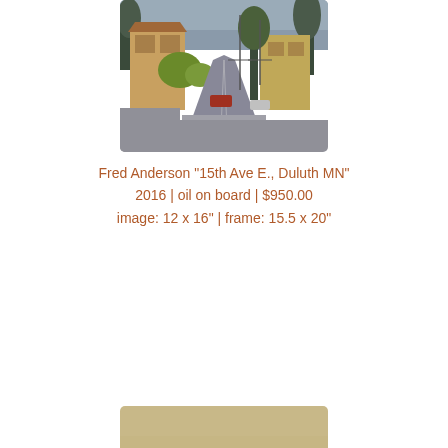[Figure (photo): Oil painting of a street scene at 15th Ave E., Duluth MN. Shows an urban street with houses, trees, parked cars, and a road receding into the distance under an overcast sky.]
Fred Anderson "15th Ave E., Duluth MN"
2016 | oil on board | $950.00
image: 12 x 16" | frame: 15.5 x 20"
[Figure (photo): Oil painting showing an interior or building scene with a large beige/tan wall and some dark structural elements in the lower right corner, partially visible.]